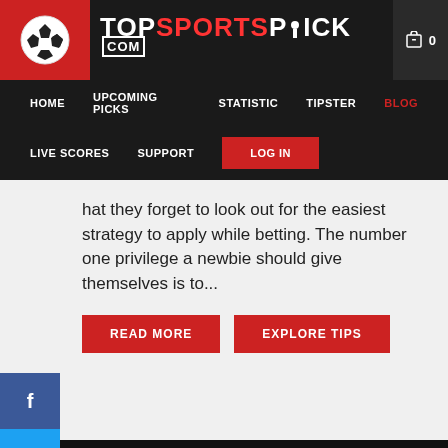[Figure (logo): TopSportsPick.com website header with soccer ball logo and navigation menu]
TOP SPORTS PICK .COM
hat they forget to look out for the easiest strategy to apply while betting. The number one privilege a newbie should give themselves is to...
READ MORE | EXPLORE TIPS
Soccer Betting Remains the Favored Betting Industry and Here Is